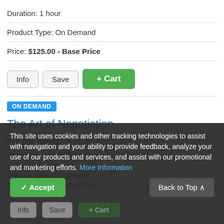Duration: 1 hour
Product Type: On Demand
Price: $125.00 - Base Price
Info | Save | + Cart (buttons)
ON DEMAND
The Art of Negotiation
Average Rating: ★★★★☆ 107
Speakers: James Sebenius
Duration: 58 Minutes
Product Type: On Demand
$125.00 - Non-Member Price
This site uses cookies and other tracking technologies to assist with navigation and your ability to provide feedback, analyze your use of our products and services, and assist with our promotional and marketing efforts. More Information
✓ Accept | Back to Top ∧
Info | Save | + Cart (dimmed buttons)